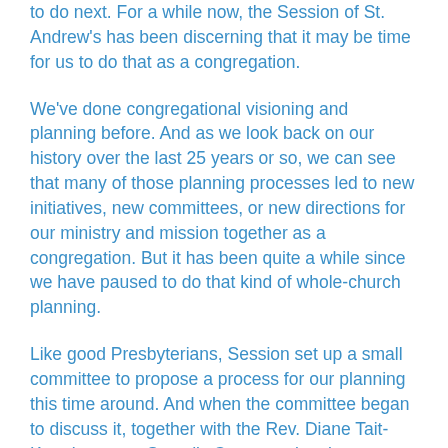to do next. For a while now, the Session of St. Andrew's has been discerning that it may be time for us to do that as a congregation.
We've done congregational visioning and planning before. And as we look back on our history over the last 25 years or so, we can see that many of those planning processes led to new initiatives, new committees, or new directions for our ministry and mission together as a congregation. But it has been quite a while since we have paused to do that kind of whole-church planning.
Like good Presbyterians, Session set up a small committee to propose a process for our planning this time around. And when the committee began to discuss it, together with the Rev. Diane Tait-Katerberg, our Synod's Congregational Development Coordinator, there was a strong feeling that we wanted to include as many people as possible in the process.